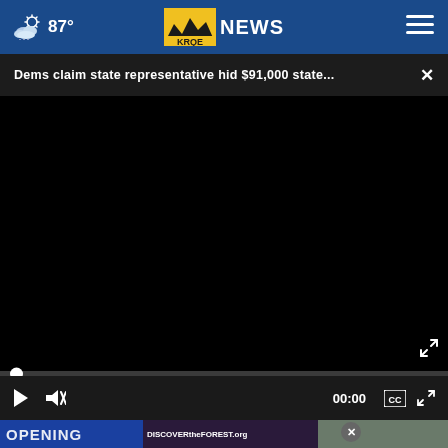87° KRQE NEWS
Dems claim state representative hid $91,000 state... ×
[Figure (screenshot): Black video player area showing paused video]
00:00
[Figure (screenshot): Bottom overlay showing OPENING banner text and person photo with close button and DISCOVERtheFOREST.org ad banner]